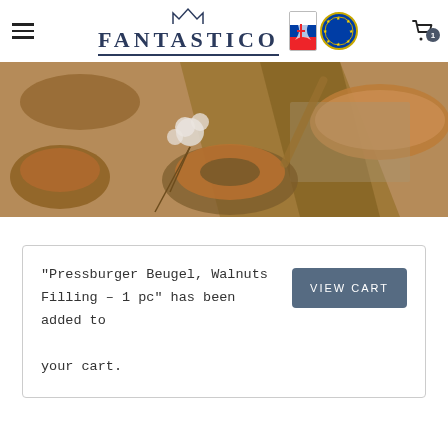FANTASTICO
[Figure (photo): Hero banner image showing assorted breads, pastries, seeds, and cotton flowers on a wooden surface.]
"Pressburger Beugel, Walnuts Filling – 1 pc" has been added to your cart.
VIEW CART